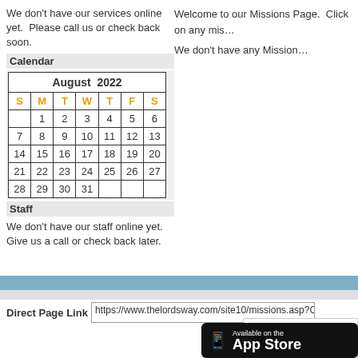We don't have our services online yet.  Please call us or check back soon.
Calendar
| S | M | T | W | T | F | S |
| --- | --- | --- | --- | --- | --- | --- |
|  | 1 | 2 | 3 | 4 | 5 | 6 |
| 7 | 8 | 9 | 10 | 11 | 12 | 13 |
| 14 | 15 | 16 | 17 | 18 | 19 | 20 |
| 21 | 22 | 23 | 24 | 25 | 26 | 27 |
| 28 | 29 | 30 | 31 |  |  |  |
Staff
We don't have our staff online yet. Give us a call or check back later.
Welcome to our Missions Page.  Click on any mis...
We don't have any Mission...
Direct Page Link   https://www.thelordsway.com/site10/missions.asp?Congre...
[Figure (screenshot): Popup box with 'Po', 'TheLo' link, 'Click he own chur' text]